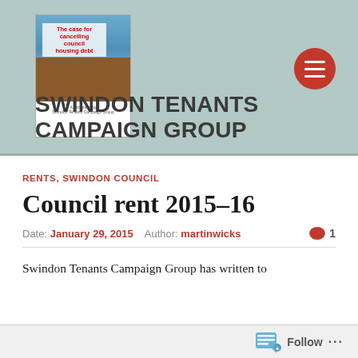SWINDON TENANTS CAMPAIGN GROUP
RENTS, SWINDON COUNCIL
Council rent 2015–16
Date: January 29, 2015   Author: martinwicks   1
Swindon Tenants Campaign Group has written to